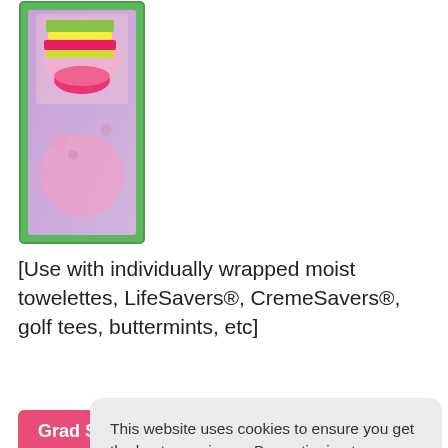[Figure (illustration): Tall narrow product packaging with green border, colorful cake/food graphic at top with pink circle, pastel purple and pink patterns on package body]
[Use with individually wrapped moist towelettes, LifeSavers®, CremeSavers®, golf tees, buttermints, etc]
Grad Swirl Mintbook File
This website uses cookies to ensure you get the best experience. By continuing to use our site, you consent to cookies.  Learn More...
Got It!
[Figure (illustration): Partial view of second product package showing bottom portion with pink/purple pattern and cake graphic at bottom]